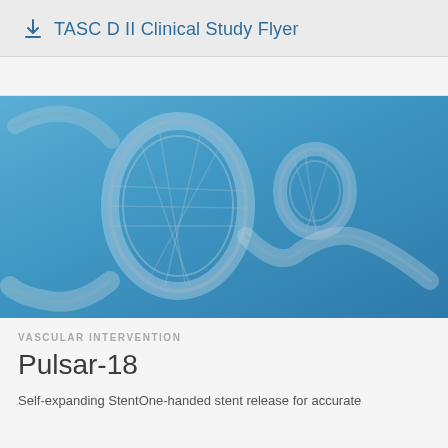↓  TASC D II Clinical Study Flyer
[Figure (photo): A flexible nitinol mesh stent (Pulsar-18) bent into loops and curves against a blue gradient background, demonstrating the device's flexibility and shape memory properties.]
VASCULAR INTERVENTION
Pulsar-18
Self-expanding StentOne-handed stent release for accurate